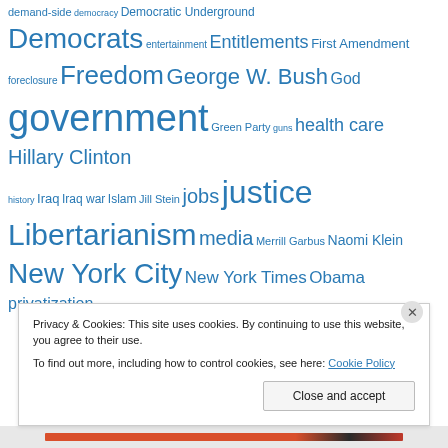demand-side democracy Democratic Underground Democrats entertainment Entitlements First Amendment foreclosure Freedom George W. Bush God government Green Party guns health care Hillary Clinton history Iraq Iraq war Islam Jill Stein jobs justice Libertarianism media Merrill Garbus Naomi Klein New York City New York Times Obama privatization
Privacy & Cookies: This site uses cookies. By continuing to use this website, you agree to their use.
To find out more, including how to control cookies, see here: Cookie Policy
Close and accept